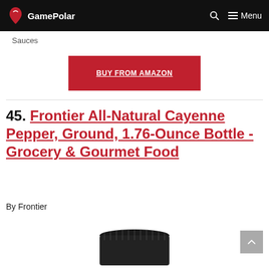GamePolar | Menu
Sauces
BUY FROM AMAZON
45. Frontier All-Natural Cayenne Pepper, Ground, 1.76-Ounce Bottle -Grocery & Gourmet Food
By Frontier
[Figure (photo): Bottom portion of a product bottle with black cap visible]